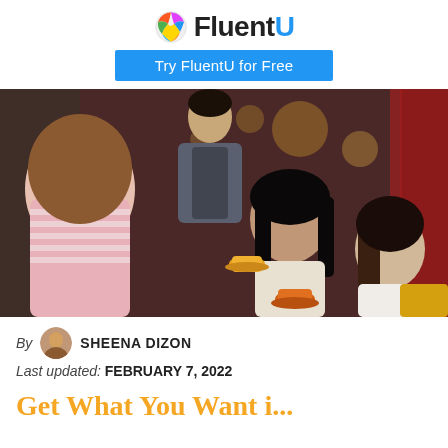[Figure (logo): FluentU logo with colorful globe icon and 'FluentU' text in black and blue]
[Figure (other): Blue button reading 'Try FluentU for Free']
[Figure (photo): Photo of young Asian people at a cafe: a male waiter serving coffee cups on saucers to two women seated at a table, warm restaurant lighting]
By SHEENA DIZON
Last updated: FEBRUARY 7, 2022
Get What You Want i…